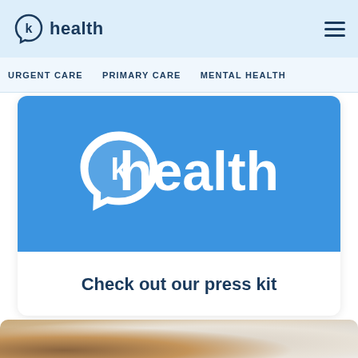K Health
URGENT CARE   PRIMARY CARE   MENTAL HEALTH
[Figure (logo): K Health logo on blue background — white speech-bubble icon with letter k, and the word 'health' in white text on blue background]
Check out our press kit
[Figure (photo): Partial photo of a cup of tea and a person in bed, visible at bottom of page]